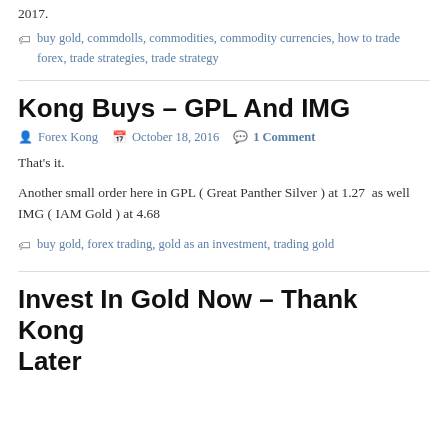2017.
buy gold, commdolls, commodities, commodity currencies, how to trade forex, trade strategies, trade strategy
Kong Buys – GPL And IMG
Forex Kong  October 18, 2016  1 Comment
That's it.
Another small order here in GPL ( Great Panther Silver ) at 1.27  as well IMG ( IAM Gold ) at 4.68
buy gold, forex trading, gold as an investment, trading gold
Invest In Gold Now – Thank Kong Later